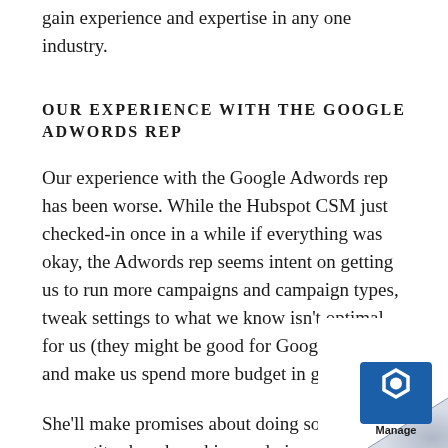gain experience and expertise in any one industry.
OUR EXPERIENCE WITH THE GOOGLE ADWORDS REP
Our experience with the Google Adwords rep has been worse. While the Hubspot CSM just checked-in once in a while if everything was okay, the Adwords rep seems intent on getting us to run more campaigns and campaign types, tweak settings to what we know isn’t optimal for us (they might be good for Google though), and make us spend more budget in general.
She’ll make promises about doing some competitor benchmarking and give us best-practice recommendations, or going through our accou and telling us how to optimize, but invariabl aren’t relevant and I now actively avoid ge